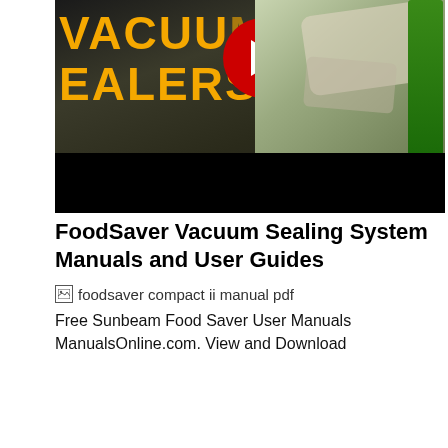[Figure (screenshot): YouTube video thumbnail showing vacuum sealers promotional content. Orange bold text reads 'VACUUM SEALERS' on left side. Red YouTube play button circle in center-top. Food items in vacuum sealed bags on right. Black bar at bottom.]
FoodSaver Vacuum Sealing System Manuals and User Guides
[Figure (other): Broken image placeholder with alt text: foodsaver compact ii manual pdf]
Free Sunbeam Food Saver User Manuals ManualsOnline.com. View and Download